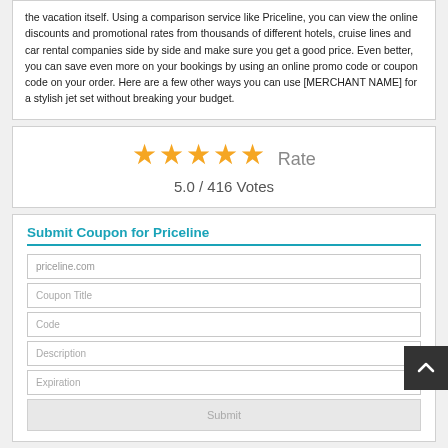the vacation itself. Using a comparison service like Priceline, you can view the online discounts and promotional rates from thousands of different hotels, cruise lines and car rental companies side by side and make sure you get a good price. Even better, you can save even more on your bookings by using an online promo code or coupon code on your order. Here are a few other ways you can use [MERCHANT NAME] for a stylish jet set without breaking your budget.
[Figure (other): 5-star rating widget showing 5 gold stars and the label 'Rate', with '5.0 / 416 Votes' below]
Submit Coupon for Priceline
priceline.com
Coupon Title
Code
Description
Expiration
Submit